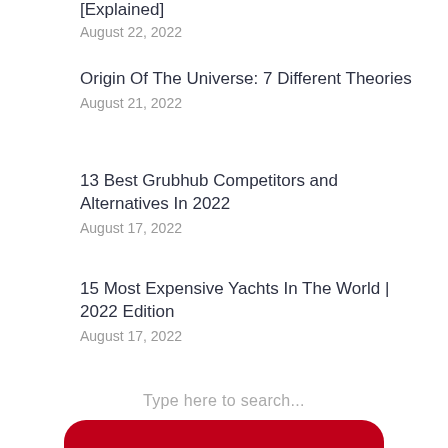[Explained]
August 22, 2022
Origin Of The Universe: 7 Different Theories
August 21, 2022
13 Best Grubhub Competitors and Alternatives In 2022
August 17, 2022
15 Most Expensive Yachts In The World | 2022 Edition
August 17, 2022
Type here to search...